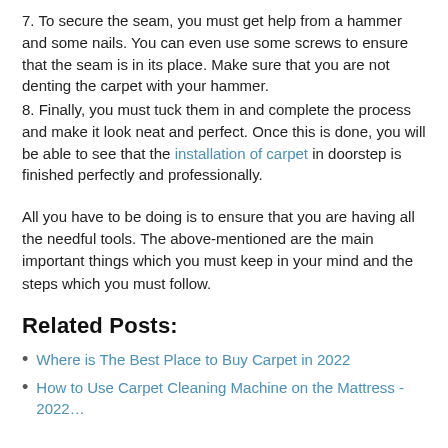7. To secure the seam, you must get help from a hammer and some nails. You can even use some screws to ensure that the seam is in its place. Make sure that you are not denting the carpet with your hammer.
8. Finally, you must tuck them in and complete the process and make it look neat and perfect. Once this is done, you will be able to see that the installation of carpet in doorstep is finished perfectly and professionally.
All you have to be doing is to ensure that you are having all the needful tools. The above-mentioned are the main important things which you must keep in your mind and the steps which you must follow.
Related Posts:
Where is The Best Place to Buy Carpet in 2022
How to Use Carpet Cleaning Machine on the Mattress - 2022…